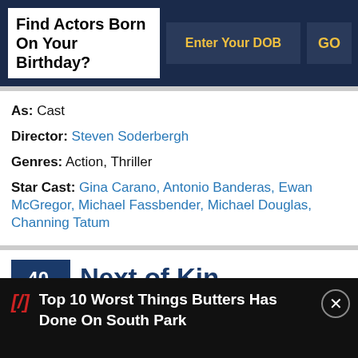Find Actors Born On Your Birthday?
As: Cast
Director: Steven Soderbergh
Genres: Action, Thriller
Star Cast: Gina Carano, Antonio Banderas, Ewan McGregor, Michael Fassbender, Michael Douglas, Channing Tatum
40. Next of Kin
Top 10 Worst Things Butters Has Done On South Park